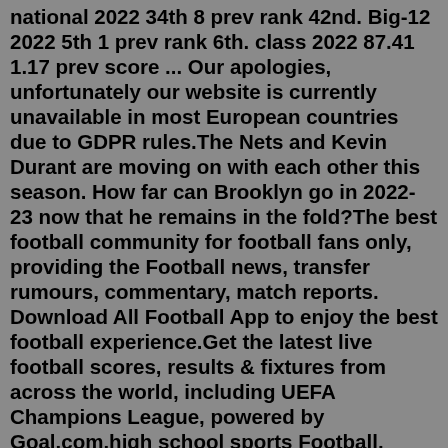national 2022 34th 8 prev rank 42nd. Big-12 2022 5th 1 prev rank 6th. class 2022 87.41 1.17 prev score ... Our apologies, unfortunately our website is currently unavailable in most European countries due to GDPR rules.The Nets and Kevin Durant are moving on with each other this season. How far can Brooklyn go in 2022-23 now that he remains in the fold?The best football community for football fans only, providing the Football news, transfer rumours, commentary, match reports. Download All Football App to enjoy the best football experience.Get the latest live football scores, results & fixtures from across the world, including UEFA Champions League, powered by Goal.com.high school sports Football. Garland Lakeview Centennial three-star defensive lineman Trey Wilson commits to Baylor Wilson, the No. 24 player on The Dallas Morning News top 100 recruits list ...Baylor Football: Bryson Jackson Media Availability (August 19, 2022) 8/19/2022. Baylor Football: Dave Aranda Media Availability (August 19, 2022) 8/19/2022. Baylor Football: Ben Sims Media